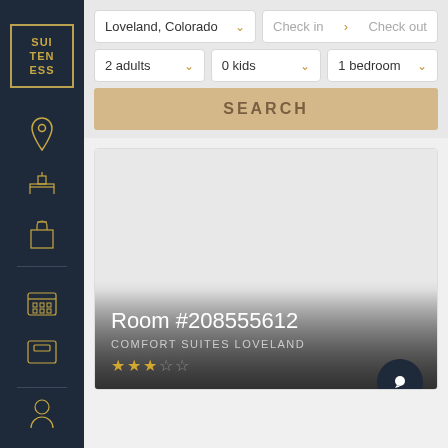[Figure (screenshot): Suiteness logo with gold border on dark navy sidebar]
[Figure (screenshot): Location search input showing Loveland, Colorado with dropdown arrow]
[Figure (screenshot): Check in and Check out date selector inputs]
[Figure (screenshot): Occupancy selectors: 2 adults, 0 kids, 1 bedroom]
[Figure (screenshot): SEARCH button in tan/gold color]
[Figure (screenshot): Hotel room card showing Room #208555612 at Comfort Suites Loveland with 2.5 star rating and chat button]